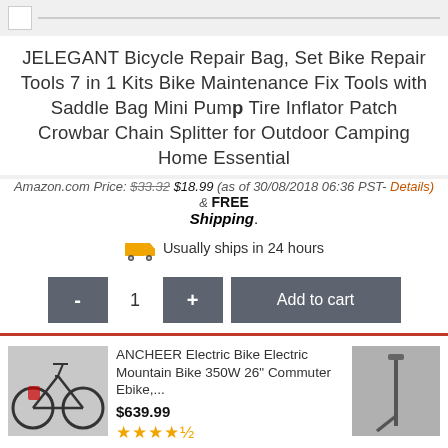[Figure (screenshot): Top navigation bar with broken image icon and gray line]
JELEGANT Bicycle Repair Bag, Set Bike Repair Tools 7 in 1 Kits Bike Maintenance Fix Tools with Saddle Bag Mini Pump Tire Inflator Patch Crowbar Chain Splitter for Outdoor Camping Home Essential
Amazon.com Price: $33.32 $18.99 (as of 30/08/2018 06:36 PST- Details) & FREE Shipping.
Usually ships in 24 hours
- 1 + Add to cart
ANCHEER Electric Bike Electric Mountain Bike 350W 26" Commuter Ebike,... $639.99 ★★★★½
Ads by Amazon
DAWAY A35 Bike Repair Kit - 120 PSI